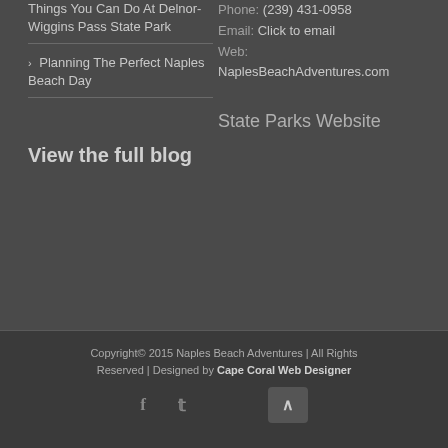Things You Can Do At Delnor-Wiggins Pass State Park
Planning The Perfect Naples Beach Day
Phone: (239) 431-0958
Email: Click to email
Web: NaplesBeachAdventures.com
State Parks Website
View the full blog
Copyright© 2015 Naples Beach Adventures | All Rights Reserved | Designed by Cape Coral Web Designer